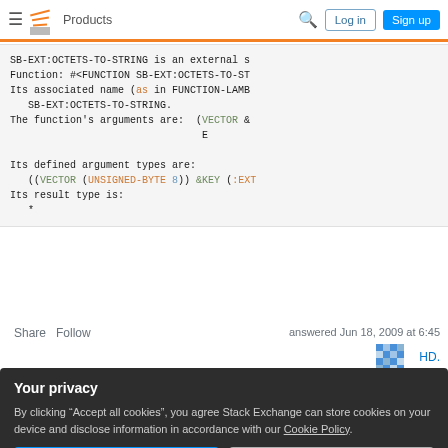Stack Overflow navigation bar with Products, search, Log in, Sign up
SB-EXT:OCTETS-TO-STRING is an external s
Function: #<FUNCTION SB-EXT:OCTETS-TO-ST
Its associated name (as in FUNCTION-LAMB
   SB-EXT:OCTETS-TO-STRING.
The function's arguments are:  (VECTOR &
                                E

Its defined argument types are:
   ((VECTOR (UNSIGNED-BYTE 8)) &KEY (:EXT
Its result type is:
   *
Share  Follow
answered Jun 18, 2009 at 6:45
[Figure (other): User avatar pixelated icon for HD.]
HD.
Your privacy
By clicking "Accept all cookies", you agree Stack Exchange can store cookies on your device and disclose information in accordance with our Cookie Policy.
Accept all cookies
Customize settings